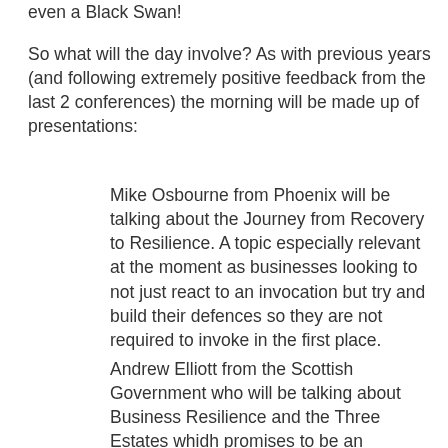even a Black Swan!
So what will the day involve? As with previous years (and following extremely positive feedback from the last 2 conferences) the morning will be made up of presentations:
Mike Osbourne from Phoenix will be talking about the Journey from Recovery to Resilience. A topic especially relevant at the moment as businesses looking to not just react to an invocation but try and build their defences so they are not required to invoke in the first place.
Andrew Elliott from the Scottish Government who will be talking about Business Resilience and the Three Estates whidh promises to be an interesting discussion.
Aidan O'Brien from the National Australia Group will be taking about Implementing BCM Frameworks a topic we have probably all had some experience in, but I know I will enjoy hearing how someone else has done it, and if I can pick up some ideas all the better!
Joe Holden from FIOR will then be presenting on Incident Response Planning - People, Planning and Proofing which